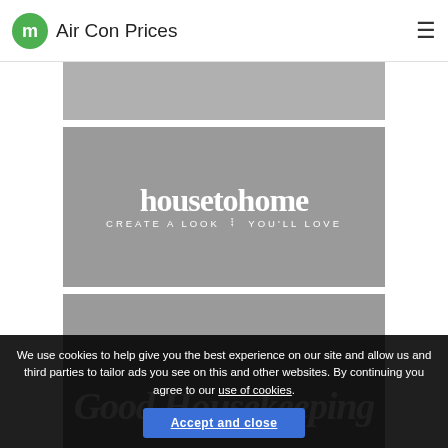My Air Con Prices
[Figure (other): Gray banner image strip at top]
[Figure (logo): housetohome logo on gray background with text 'CREATE A LOOK YOU'LL LOVE']
[Figure (logo): Good Housekeeping logo on gray background (partially visible)]
We use cookies to help give you the best experience on our site and allow us and third parties to tailor ads you see on this and other websites. By continuing you agree to our use of cookies.
Accept and close